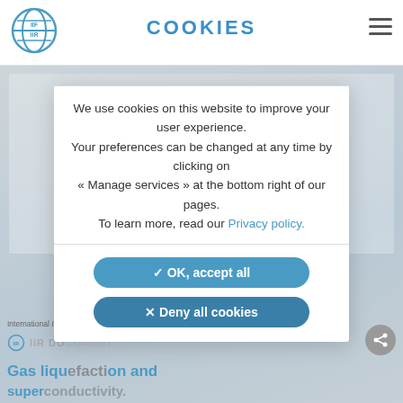COOKIES
We use cookies on this website to improve your user experience.
Your preferences can be changed at any time by clicking on
« Manage services » at the bottom right of our pages.
To learn more, read our Privacy policy.
✓ OK, accept all
✕ Deny all cookies